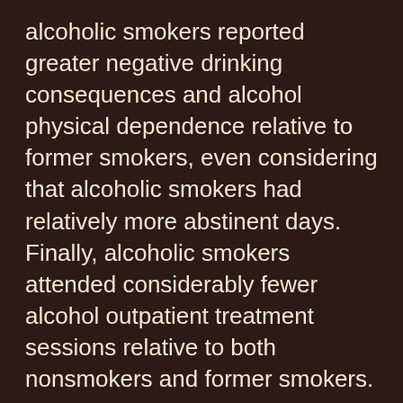alcoholic smokers reported greater negative drinking consequences and alcohol physical dependence relative to former smokers, even considering that alcoholic smokers had relatively more abstinent days. Finally, alcoholic smokers attended considerably fewer alcohol outpatient treatment sessions relative to both nonsmokers and former smokers.
Common risk factors for both alcoholism and smoking behavior, such as personality traits and negative affect, may obscure personality differences between smokers and nonsmokers in an alcohol treatment sample. Furthermore, findings suggest that current nicotine use among alcoholics is associated with greater